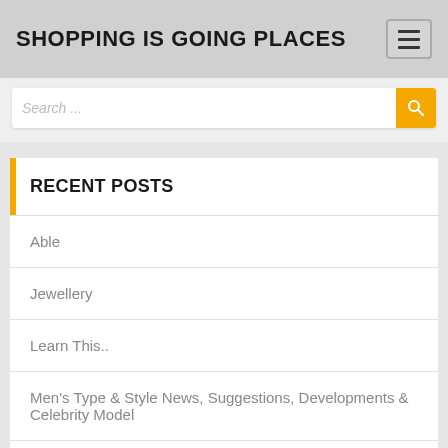SHOPPING IS GOING PLACES
RECENT POSTS
Able
Jewellery
Learn This..
Men's Type & Style News, Suggestions, Developments & Celebrity Model
Your Data